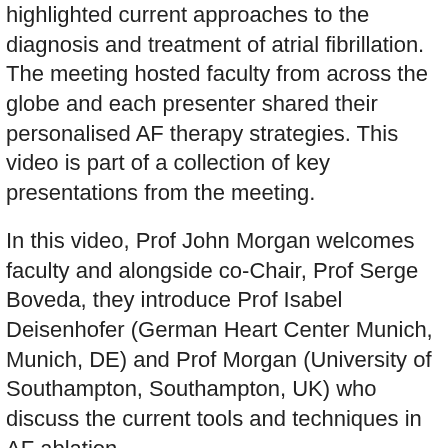highlighted current approaches to the diagnosis and treatment of atrial fibrillation. The meeting hosted faculty from across the globe and each presenter shared their personalised AF therapy strategies. This video is part of a collection of key presentations from the meeting.
In this video, Prof John Morgan welcomes faculty and alongside co-Chair, Prof Serge Boveda, they introduce Prof Isabel Deisenhofer (German Heart Center Munich, Munich, DE) and Prof Morgan (University of Southampton, Southampton, UK) who discuss the current tools and techniques in AF ablation.
Educational objectives